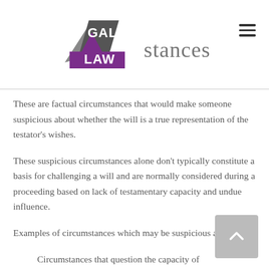GALE LAW circumstances
These are factual circumstances that would make someone suspicious about whether the will is a true representation of the testator’s wishes.
These suspicious circumstances alone don’t typically constitute a basis for challenging a will and are normally considered during a proceeding based on lack of testamentary capacity and undue influence.
Examples of circumstances which may be suspicious are:
Circumstances that question the capacity of